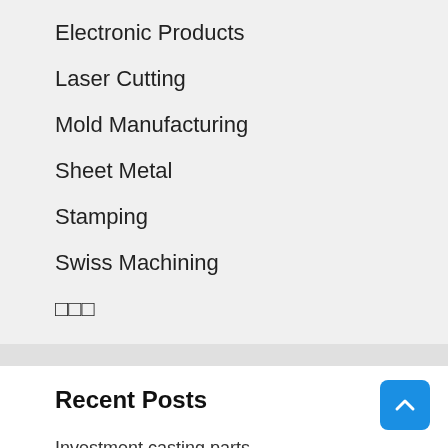Electronic Products
Laser Cutting
Mold Manufacturing
Sheet Metal
Stamping
Swiss Machining
□□□
Recent Posts
Investment casting parts
Jio to take 5G tech to global telcos after proving it in India; achieved 1 Gbps speeds: Ambani